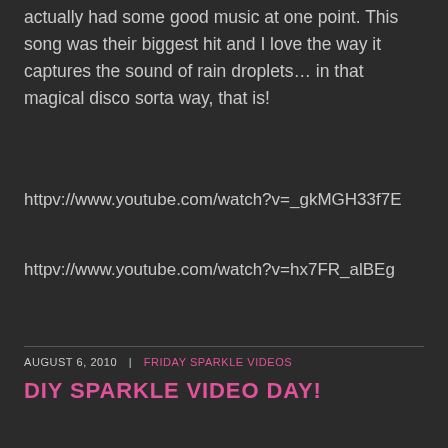actually had some good music at one point. This song was their biggest hit and I love the way it captures the sound of rain droplets… in that magical disco sorta way, that is!
httpv://www.youtube.com/watch?v=_gkMGH33f7E
httpv://www.youtube.com/watch?v=hx7FR_alBEg
AUGUST 6, 2010 | FRIDAY SPARKLE VIDEOS
DIY SPARKLE VIDEO DAY!